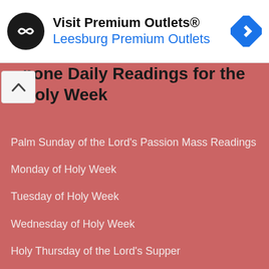[Figure (logo): Visit Premium Outlets® advertisement banner with black circular logo with arrow symbol, text 'Visit Premium Outlets®' and 'Leesburg Premium Outlets' in blue, and a blue diamond-shaped navigation icon]
none Daily Readings for the Holy Week
Palm Sunday of the Lord's Passion Mass Readings
Monday of Holy Week
Tuesday of Holy Week
Wednesday of Holy Week
Holy Thursday of the Lord's Supper
Chrism Mass Readings on Holy Thursday
Good Friday of the Lord's Passion